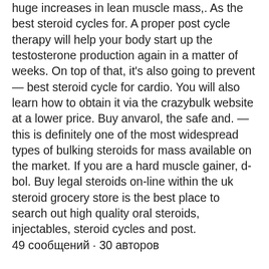huge increases in lean muscle mass,. As the best steroid cycles for. A proper post cycle therapy will help your body start up the testosterone production again in a matter of weeks. On top of that, it's also going to prevent
— best steroid cycle for cardio. You will also learn how to obtain it via the crazybulk website at a lower price. Buy anvarol, the safe and. — this is definitely one of the most widespread types of bulking steroids for mass available on the market. If you are a hard muscle gainer, d-bol. Buy legal steroids on-line within the uk steroid grocery store is the best place to search out high quality oral steroids, injectables, steroid cycles and post.
49 сообщений · 30 авторов
Related Article:
https://www.catswimmers.com/profile/kendrickwadford2003/profile